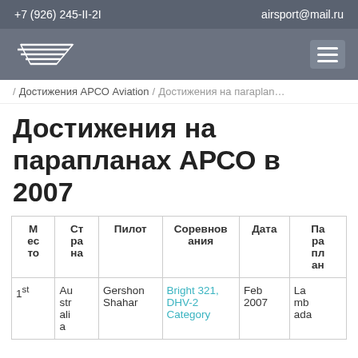+7 (926) 245-II-2I   airsport@mail.ru
[Figure (logo): ARSO Aviation logo - stylized wing/arrow mark in white on gray background]
/ Достижения АРСО Aviation / Достижения на паrapla…
Достижения на парапланах АРСО в 2007
| М ес то | Ст ра на | Пилот | Соревнов ания | Дата | Па ра пл ан |
| --- | --- | --- | --- | --- | --- |
| 1st | Au str ali a | Gershon Shahar | Bright 321, DHV-2 Category | Feb 2007 | La mb ada |